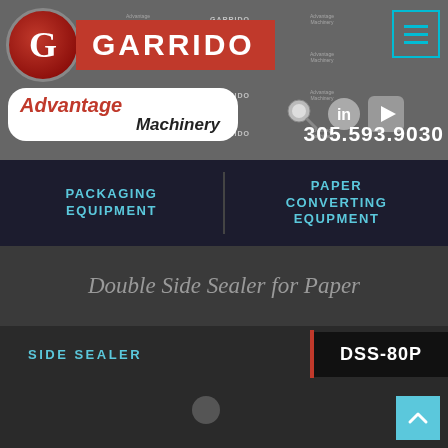[Figure (logo): Garrido Advantage Machinery logo with red G circle and red GARRIDO text banner, tiled background of GARRIDO and Advantage Machinery text]
305.593.9030
PACKAGING EQUIPMENT
PAPER CONVERTING EQUPMENT
Double Side Sealer for Paper
SIDE SEALER
DSS-80P